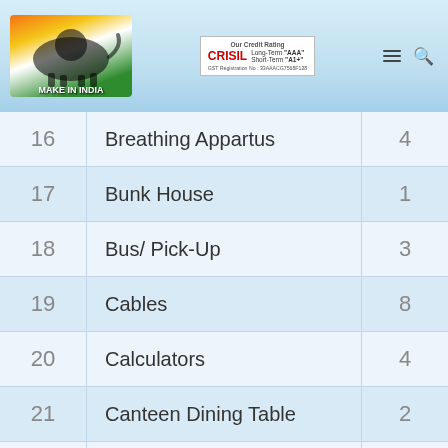Make In India | CRISIL Credit Rating: Long-Term AAA, Short-Term A1+
| # | Item | Count |
| --- | --- | --- |
| 16 | Breathing Appartus | 4 |
| 17 | Bunk House | 1 |
| 18 | Bus/ Pick-Up | 3 |
| 19 | Cables | 8 |
| 20 | Calculators | 4 |
| 21 | Canteen Dining Table | 2 |
| 22 | Canteen Utensils | 5 |
| 23 | Car | 4 |